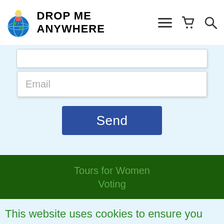DROP ME ANYWHERE
Email
Send
Tours for Women
Voting
This website uses cookies to ensure you get the best experience on our website.
Accept & Close